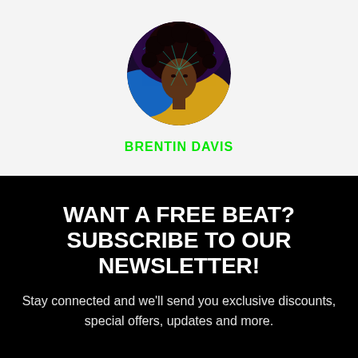[Figure (photo): Circular profile photo of Brentin Davis, an artistic/digital portrait of a person with an afro hairstyle and colorful background with geometric overlays]
BRENTIN DAVIS
WANT A FREE BEAT? SUBSCRIBE TO OUR NEWSLETTER!
Stay connected and we'll send you exclusive discounts, special offers, updates and more.